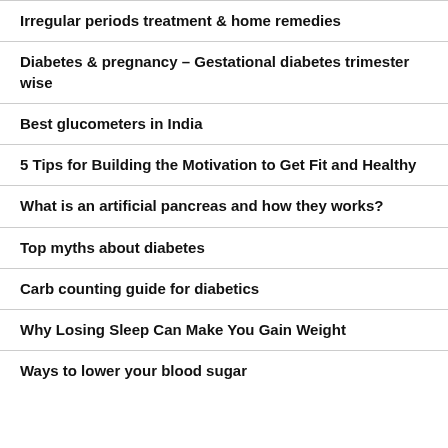Irregular periods treatment & home remedies
Diabetes & pregnancy – Gestational diabetes trimester wise
Best glucometers in India
5 Tips for Building the Motivation to Get Fit and Healthy
What is an artificial pancreas and how they works?
Top myths about diabetes
Carb counting guide for diabetics
Why Losing Sleep Can Make You Gain Weight
Ways to lower your blood sugar